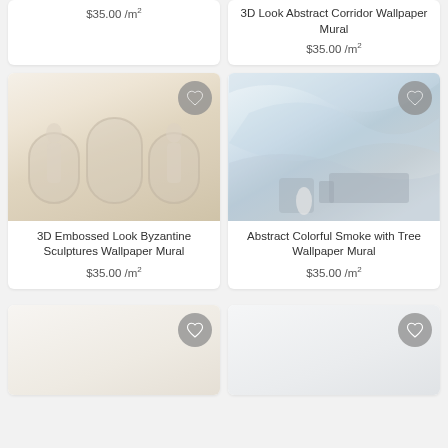$35.00 /m²
3D Look Abstract Corridor Wallpaper Mural
$35.00 /m²
[Figure (photo): 3D Embossed Look Byzantine Sculptures Wallpaper Mural product image showing classical white relief sculptures with arches]
3D Embossed Look Byzantine Sculptures Wallpaper Mural
$35.00 /m²
[Figure (photo): Abstract Colorful Smoke with Tree Wallpaper Mural product image showing soft blue smoke and fabric with modern furniture]
Abstract Colorful Smoke with Tree Wallpaper Mural
$35.00 /m²
[Figure (photo): Partially visible product card bottom left]
[Figure (photo): Partially visible product card bottom right]